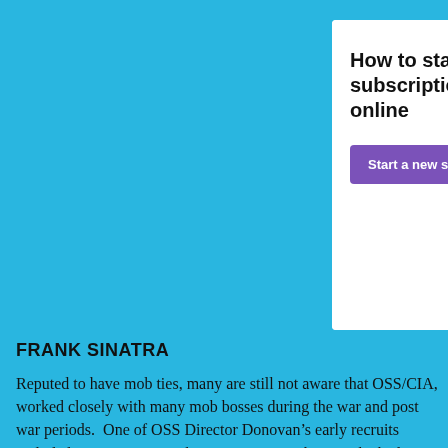[Figure (other): Advertisement banner with light background showing text 'How to start selling subscriptions online' with a purple 'Start a new store' button and teal circular decorative elements on the right side.]
REPORT THIS AD
FRANK SINATRA
Reputed to have mob ties, many are still not aware that OSS/CIA, worked closely with many mob bosses during the war and post war periods.  One of OSS Director Donovan’s early recruits included pop crooner Frank Sinatra. Sinatra, because he had exclusive access, particularly during the era of the Kennedy administration, often acted as a courier for CIA, carrying valuable information and accompanying other agents on missions around